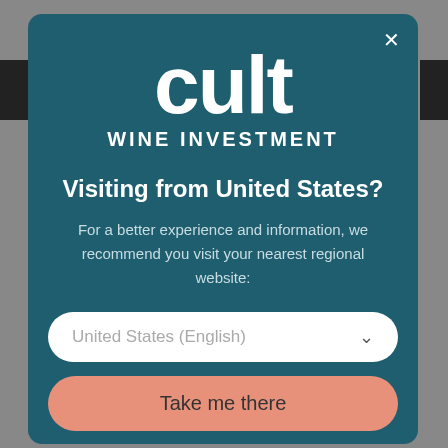[Figure (logo): Cult Wine Investment logo — large lowercase 'cult' wordmark with 'WINE INVESTMENT' below in uppercase]
Visiting from United States?
For a better experience and information, we recommend you visit your nearest regional website:
United States (English)
Take me there